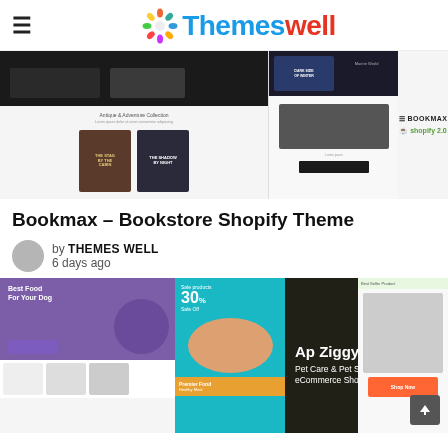Themeswell
[Figure (screenshot): Screenshot of Bookmax Bookstore Shopify theme preview showing book covers and store layout]
Bookmax – Bookstore Shopify Theme
by THEMES WELL
6 days ago
[Figure (screenshot): Screenshot of Ap Ziggypet Pet Care & Pet Shop eCommerce Shopify Theme preview]